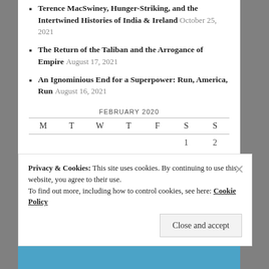Terence MacSwiney, Hunger-Striking, and the Intertwined Histories of India & Ireland October 25, 2021
The Return of the Taliban and the Arrogance of Empire August 17, 2021
An Ignominious End for a Superpower: Run, America, Run August 16, 2021
| M | T | W | T | F | S | S |
| --- | --- | --- | --- | --- | --- | --- |
|  |  |  |  |  | 1 | 2 |
| 3 | 4 | 5 | 6 | 7 | 8 | 9 |
| 10 | 11 | 12 | 13 | 14 | 15 | 16 |
Privacy & Cookies: This site uses cookies. By continuing to use this website, you agree to their use.
To find out more, including how to control cookies, see here: Cookie Policy
Close and accept